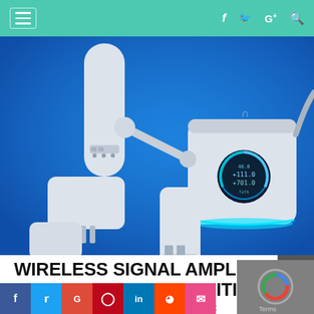Navigation bar with hamburger menu and social icons (f, twitter bird, G+, search)
[Figure (photo): Product photo of Ubiquiti AmpliFi HD mesh router system with white cube router unit featuring a circular LCD display with blue glow, mesh point antennas, and power adapters arranged on a blue background.]
WIRELESS SIGNAL AMPLIFIED BY THE LATEST UBIQUITI AMPLIFI
needs and the choices we make never ends and it gets increased and
Social sharing buttons: Facebook, Twitter, Google, Pinterest, LinkedIn, Reddit, Email